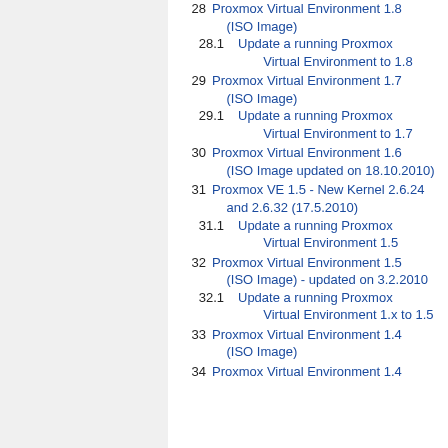28  Proxmox Virtual Environment 1.8 (ISO Image)
28.1  Update a running Proxmox Virtual Environment to 1.8
29  Proxmox Virtual Environment 1.7 (ISO Image)
29.1  Update a running Proxmox Virtual Environment to 1.7
30  Proxmox Virtual Environment 1.6 (ISO Image updated on 18.10.2010)
31  Proxmox VE 1.5 - New Kernel 2.6.24 and 2.6.32 (17.5.2010)
31.1  Update a running Proxmox Virtual Environment 1.5
32  Proxmox Virtual Environment 1.5 (ISO Image) - updated on 3.2.2010
32.1  Update a running Proxmox Virtual Environment 1.x to 1.5
33  Proxmox Virtual Environment 1.4 (ISO Image)
34  Proxmox Virtual Environment 1.4